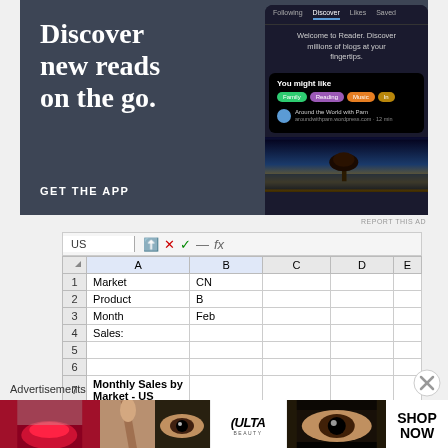[Figure (screenshot): WordPress Reader app advertisement showing 'Discover new reads on the go.' with GET THE APP call to action and phone screenshot showing blog discovery interface]
REPORT THIS AD
[Figure (screenshot): Partial spreadsheet screenshot showing formula bar with 'US', and cells with Market=CN, Product=B, Month=Feb, Sales: row 4, rows 5-6 empty, row 7 'Monthly Sales by Market - US' bold, row 8 header row showing Product, Jan, Feb, Mar columns highlighted in blue]
[Figure (screenshot): Close/dismiss button circle with X]
Advertisements
[Figure (screenshot): Ulta Beauty advertisement strip showing makeup product images, Ulta logo, and SHOP NOW text]